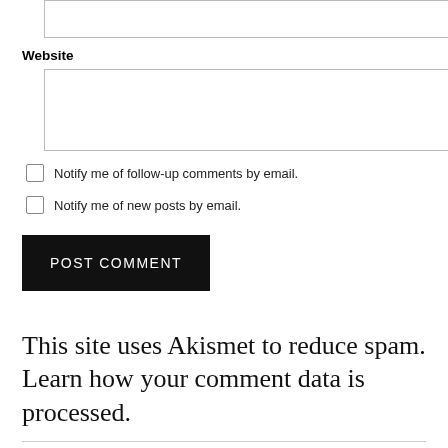[top input box]
Website
[website input box]
Notify me of follow-up comments by email.
Notify me of new posts by email.
POST COMMENT
This site uses Akismet to reduce spam. Learn how your comment data is processed.
PREVIOUS POST — Whereâ€™s the customer in customer service?! Trouble with ICICI Bank | NEXT POST — Blog Updates